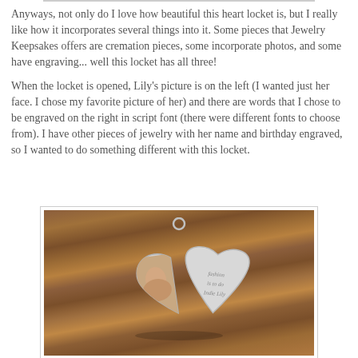Anyways, not only do I love how beautiful this heart locket is, but I really like how it incorporates several things into it. Some pieces that Jewelry Keepsakes offers are cremation pieces, some incorporate photos, and some have engraving... well this locket has all three!
When the locket is opened, Lily's picture is on the left (I wanted just her face. I chose my favorite picture of her) and there are words that I chose to be engraved on the right in script font (there were different fonts to choose from). I have other pieces of jewelry with her name and birthday engraved, so I wanted to do something different with this locket.
[Figure (photo): Photo of an open heart locket on a wooden surface. The left side of the locket contains a small photo of a face, and the right side has engraved script text.]